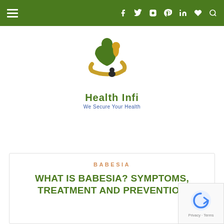Navigation bar with menu icon and social media icons (Facebook, Twitter, Instagram, Pinterest, LinkedIn, Heart, Search)
[Figure (logo): Health Infi logo — stylized green figure holding a child with golden hands, text 'Health Infi' and tagline 'We Secure Your Health']
BABESIA
WHAT IS BABESIA? SYMPTOMS, TREATMENT AND PREVENTION